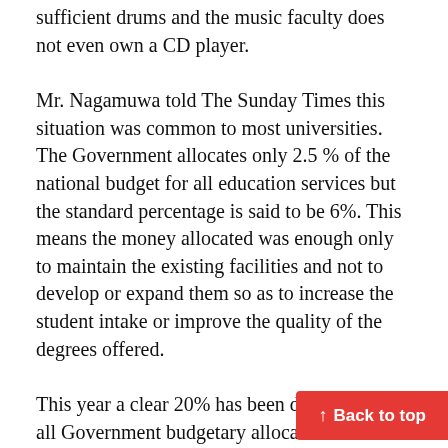sufficient drums and the music faculty does not even own a CD player.
Mr. Nagamuwa told The Sunday Times this situation was common to most universities. The Government allocates only 2.5 % of the national budget for all education services but the standard percentage is said to be 6%. This means the money allocated was enough only to maintain the existing facilities and not to develop or expand them so as to increase the student intake or improve the quality of the degrees offered.
This year a clear 20% has been deducted from all Government budgetary allocations. This situation has led some universities renting out their buildings and other facilities to earn an income to cover at least the basic maintenance cost. “The Treasury releases only part of the money which has been allocated even after deducting the 20%. Thus effectively the universities get only money allocated. The VCs waste their time going from office